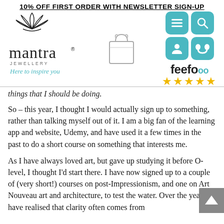10% OFF FIRST ORDER WITH NEWSLETTER SIGN-UP
[Figure (logo): Mantra Jewellery logo with lotus flower icon, tagline 'Here to inspire you', shopping bag icon, navigation icon grid (menu, search, account, phone), and Feefo 5-star rating]
things that I should be doing.
So – this year, I thought I would actually sign up to something, rather than talking myself out of it. I am a big fan of the learning app and website, Udemy, and have used it a few times in the past to do a short course on something that interests me.
As I have always loved art, but gave up studying it before O-level, I thought I'd start there. I have now signed up to a couple of (very short!) courses on post-Impressionism, and one on Art Nouveau art and architecture, to test the water. Over the years, I have realised that clarity often comes from